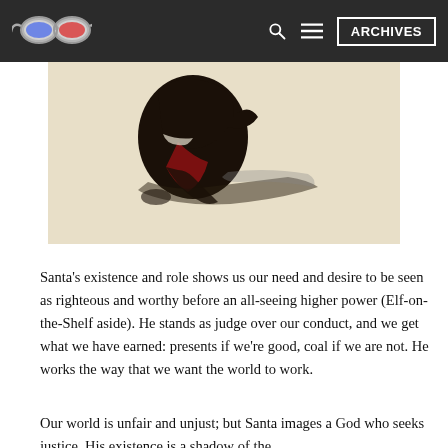ARCHIVES
[Figure (illustration): Dark ink illustration of a figure in dark clothing with a red garment, crouching or bending over, with a shadow or reflection beneath, on a cream/beige background]
Santa's existence and role shows us our need and desire to be seen as righteous and worthy before an all-seeing higher power (Elf-on-the-Shelf aside). He stands as judge over our conduct, and we get what we have earned: presents if we're good, coal if we are not. He works the way that we want the world to work.
Our world is unfair and unjust; but Santa images a God who seeks justice. His existence is a shadow of the